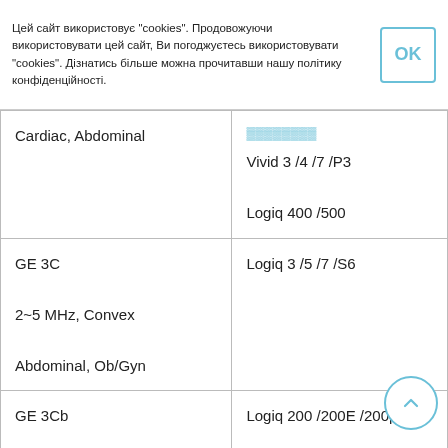Цей сайт використовує "cookies". Продовожуючи використовувати цей сайт, Ви погоджуєтесь використовувати "cookies". Дізнатись більше можна прочитавши нашу політику конфіденційності.
| Probe | Compatible Systems |
| --- | --- |
| Cardiac, Abdominal | Vivid 3 /4 /7 /P3
Logiq 400 /500 |
| GE 3C
2~5 MHz, Convex
Abdominal, Ob/Gyn | Logiq 3 /5 /7 /S6 |
| GE 3Cb
2~5 MHz, Convex | Logiq 200 /200E /200pro
Logiq 3 |